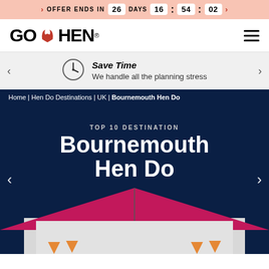OFFER ENDS IN 26 DAYS 16 : 54 : 02
[Figure (logo): Go Hen logo with red horns icon]
Save Time
We handle all the planning stress
Home | Hen Do Destinations | UK | Bournemouth Hen Do
TOP 10 DESTINATION
Bournemouth Hen Do
[Figure (photo): Hero image showing a building rooftop with pink/magenta roof trim and bunting, against dark navy background]